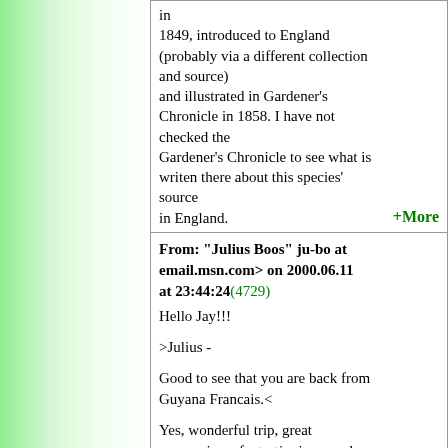in 1849, introduced to England (probably via a different collection and source) and illustrated in Gardener's Chronicle in 1858. I have not checked the Gardener's Chronicle to see what is writen there about this species' source in England. +More
From: "Julius Boos" ju-bo at email.msn.com> on 2000.06.11 at 23:44:24(4729)
Hello Jay!!!

>Julius -

Good to see that you are back from Guyana Francais.<

Yes, wonderful trip, great companions, fantastic rivers and jungle, got really lovely plants, a few surprises, and saw more beautiful species of Morpho butterflies than I have even seen, even more than in the Ecuadorian